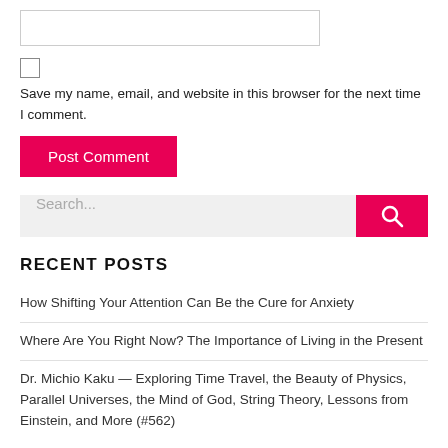[input box]
[checkbox] Save my name, email, and website in this browser for the next time I comment.
Post Comment
Search...
RECENT POSTS
How Shifting Your Attention Can Be the Cure for Anxiety
Where Are You Right Now? The Importance of Living in the Present
Dr. Michio Kaku — Exploring Time Travel, the Beauty of Physics, Parallel Universes, the Mind of God, String Theory, Lessons from Einstein, and More (#562)